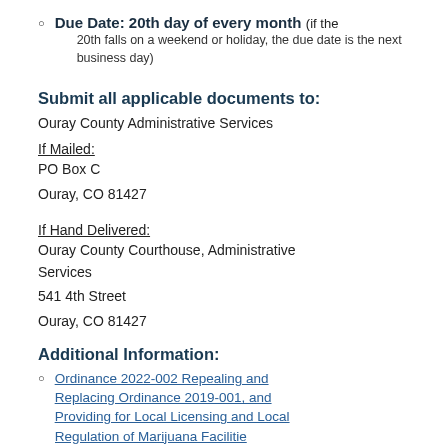Due Date: 20th day of every month (if the 20th falls on a weekend or holiday, the due date is the next business day)
Submit all applicable documents to:
Ouray County Administrative Services
If Mailed:
PO Box C
Ouray, CO 81427
If Hand Delivered:
Ouray County Courthouse, Administrative Services
541 4th Street
Ouray, CO 81427
Additional Information:
Ordinance 2022-002 Repealing and Replacing Ordinance 2019-001, and Providing for Local Licensing and Local Regulation of Marijuana Facilities